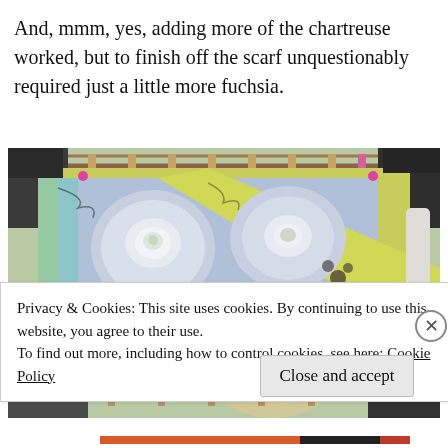And, mmm, yes, adding more of the chartreuse worked, but to finish off the scarf unquestionably required just a little more fuchsia.
[Figure (photo): A decorative fabric scarf stretched on a frame, showing floral and circular motifs in chartreuse yellow, light blue, and fuchsia/pink colors.]
Privacy & Cookies: This site uses cookies. By continuing to use this website, you agree to their use.
To find out more, including how to control cookies, see here: Cookie Policy
Close and accept